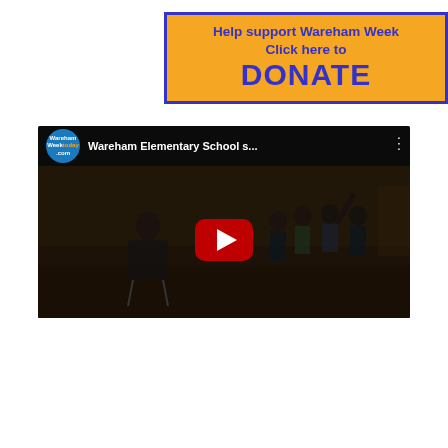[Figure (other): Orange donation banner with blue border reading 'Help support Wareham Week Click here to DONATE']
[Figure (screenshot): YouTube video thumbnail showing Wareham Elementary School students, with play button overlay. Channel: Wareham Week Today. Title: 'Wareham Elementary School s...']
[Figure (other): Infolinks advertisement bar at bottom with orange ad box and close button]